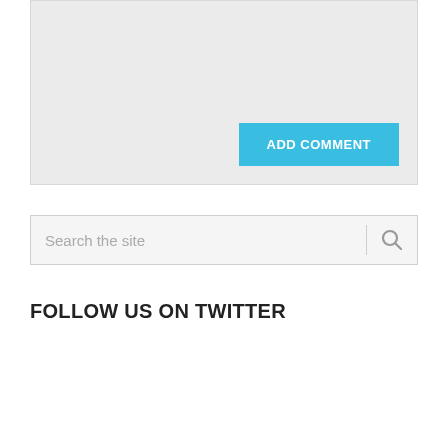[Figure (screenshot): Gray comment input area with an 'ADD COMMENT' button in light blue at the bottom right]
ADD COMMENT
Search the site
FOLLOW US ON TWITTER